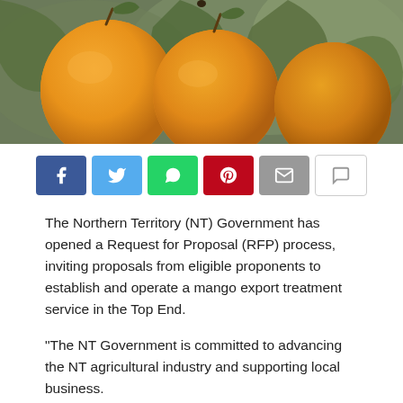[Figure (photo): Close-up photo of orange mangoes hanging on a tree with green leaves in the background]
[Figure (infographic): Social media share buttons: Facebook (blue), Twitter (light blue), WhatsApp (green), Pinterest (red), Email (grey), Comment (white/grey)]
The Northern Territory (NT) Government has opened a Request for Proposal (RFP) process, inviting proposals from eligible proponents to establish and operate a mango export treatment service in the Top End.
“The NT Government is committed to advancing the NT agricultural industry and supporting local business.
This service will stimulate the direct export of NT mangoes to China, South Korea, Japan and Indonesia, a market of 1.8 billion people,” said Minister Gary Higgins.
A $2 million investment into the Territory mango industry